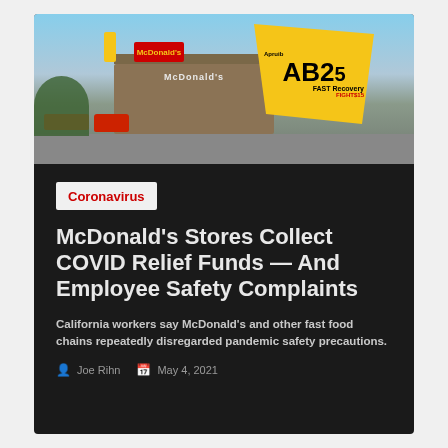[Figure (photo): McDonald's restaurant exterior with a yellow protest banner reading 'AB25' and 'FAST Recovery' and 'FIGHT$15', cars in parking lot, blue sky]
Coronavirus
McDonald's Stores Collect COVID Relief Funds — And Employee Safety Complaints
California workers say McDonald's and other fast food chains repeatedly disregarded pandemic safety precautions.
Joe Rihn   May 4, 2021